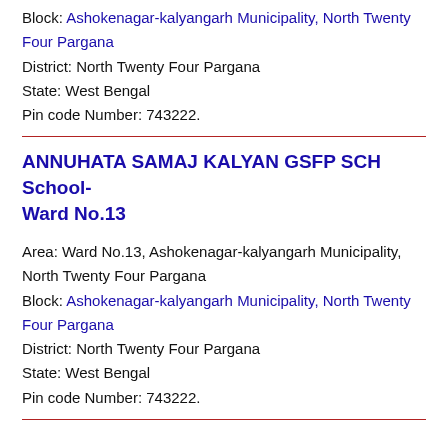Block: Ashokenagar-kalyangarh Municipality, North Twenty Four Pargana
District: North Twenty Four Pargana
State: West Bengal
Pin code Number: 743222.
ANNUHATA SAMAJ KALYAN GSFP SCH School-Ward No.13
Area: Ward No.13, Ashokenagar-kalyangarh Municipality, North Twenty Four Pargana
Block: Ashokenagar-kalyangarh Municipality, North Twenty Four Pargana
District: North Twenty Four Pargana
State: West Bengal
Pin code Number: 743222.